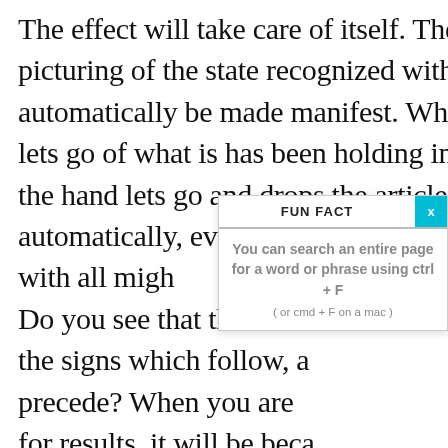The effect will take care of itself. The out-picturing of the state recognized within will automatically be made manifest. When the mind lets go of what is has been holding in the hand, the hand lets go and drops the article automatically, even though it was holding on with all migh Do you see that the resu the signs which follow, a precede? When you are  for results, it will be beca completely satisfied tha never fails, and therefor thought you take regard the inner vision is totall many cases acts as a mis
FUN FACT
You can search an entire page for a word or phrase using ctrl + F
( or cmd + F on a mac )